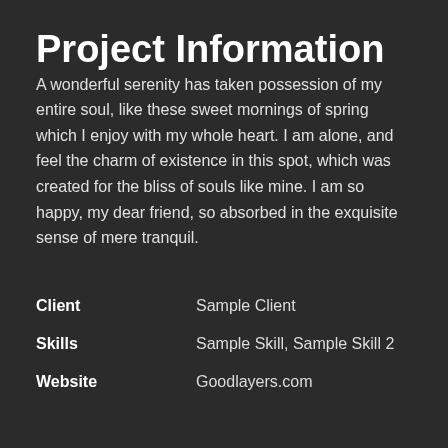Project Information
A wonderful serenity has taken possession of my entire soul, like these sweet mornings of spring which I enjoy with my whole heart. I am alone, and feel the charm of existence in this spot, which was created for the bliss of souls like mine. I am so happy, my dear friend, so absorbed in the exquisite sense of mere tranquil.
| Client | Sample Client |
| Skills | Sample Skill, Sample Skill 2 |
| Website | Goodlayers.com |